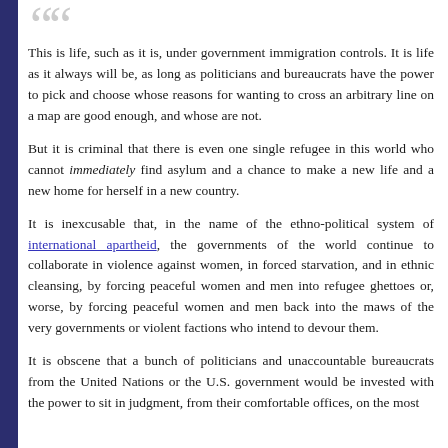“This is life, such as it is, under government immigration controls. It is life as it always will be, as long as politicians and bureaucrats have the power to pick and choose whose reasons for wanting to cross an arbitrary line on a map are good enough, and whose are not.

But it is criminal that there is even one single refugee in this world who cannot immediately find asylum and a chance to make a new life and a new home for herself in a new country.

It is inexcusable that, in the name of the ethno-political system of international apartheid, the governments of the world continue to collaborate in violence against women, in forced starvation, and in ethnic cleansing, by forcing peaceful women and men into refugee ghettoes or, worse, by forcing peaceful women and men back into the maws of the very governments or violent factions who intend to devour them.

It is obscene that a bunch of politicians and unaccountable bureaucrats from the United Nations or the U.S. government would be invested with the power to sit in judgment, from their comfortable offices, on the most